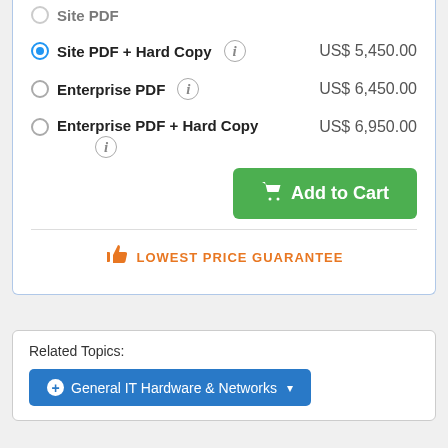Site PDF + Hard Copy — US$ 5,450.00
Enterprise PDF — US$ 6,450.00
Enterprise PDF + Hard Copy — US$ 6,950.00
Add to Cart
LOWEST PRICE GUARANTEE
Related Topics:
General IT Hardware & Networks